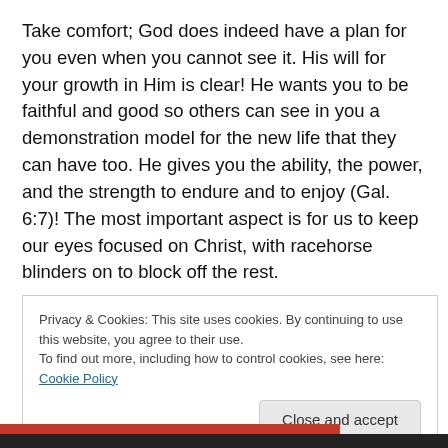Take comfort; God does indeed have a plan for you even when you cannot see it. His will for your growth in Him is clear! He wants you to be faithful and good so others can see in you a demonstration model for the new life that they can have too. He gives you the ability, the power, and the strength to endure and to enjoy (Gal. 6:7)! The most important aspect is for us to keep our eyes focused on Christ, with racehorse blinders on to block off the rest.
Privacy & Cookies: This site uses cookies. By continuing to use this website, you agree to their use.
To find out more, including how to control cookies, see here: Cookie Policy